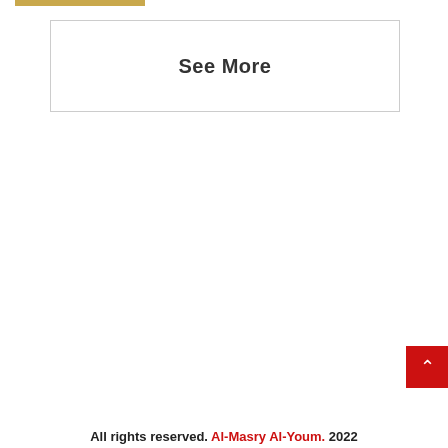[Figure (other): Gold horizontal bar at top left]
See More
[Figure (other): Red scroll-to-top button with upward caret arrow]
All rights reserved. Al-Masry Al-Youm. 2022